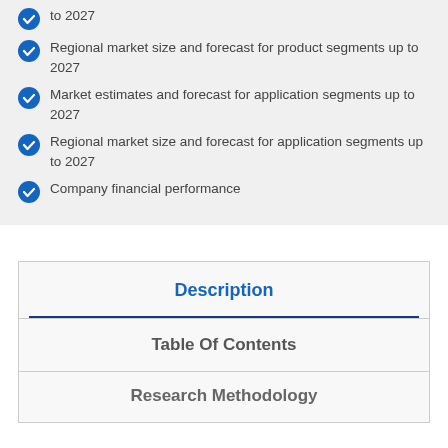to 2027
Regional market size and forecast for product segments up to 2027
Market estimates and forecast for application segments up to 2027
Regional market size and forecast for application segments up to 2027
Company financial performance
Description
Table Of Contents
Research Methodology